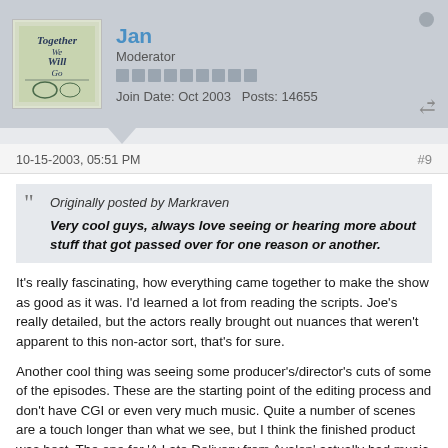Jan | Moderator | Join Date: Oct 2003 | Posts: 14655
10-15-2003, 05:51 PM
#9
Originally posted by Markraven
Very cool guys, always love seeing or hearing more about stuff that got passed over for one reason or another.
It's really fascinating, how everything came together to make the show as good as it was. I'd learned a lot from reading the scripts. Joe's really detailed, but the actors really brought out nuances that weren't apparent to this non-actor sort, that's for sure.
Another cool thing was seeing some producer's/director's cuts of some of the episodes. These are the starting point of the editing process and don't have CGI or even very much music. Quite a number of scenes are a touch longer than what we see, but I think the finished product was best. The one for 'A Late Delivery from Avalon' actually had music on it that never made it to the episode. IIRC, Joe'd decided that he wanted more of a Celtic sound.
It was really a team effort and every time I run across anybody who worked on the show I make sure to thank them.